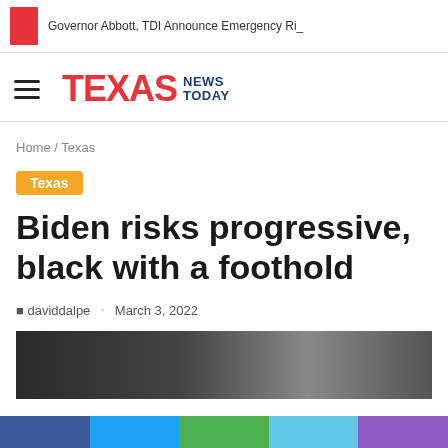Governor Abbott, TDI Announce Emergency Ri_
[Figure (logo): Texas News Today logo with hamburger menu]
Home / Texas
Texas
Biden risks progressive, black with a foothold
daviddalpe · March 3, 2022
[Figure (photo): Article photo showing people at an event, dark toned image]
[Figure (other): Social media share bar with Facebook, Twitter, green, light blue, and purple sections]